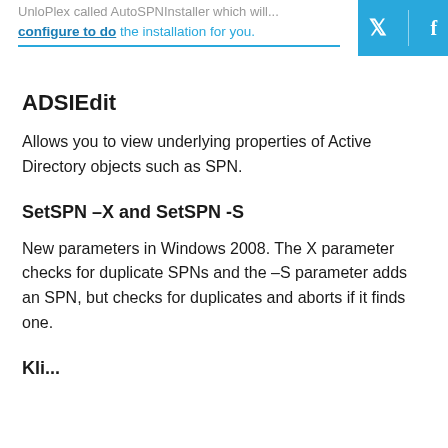UnloPlex called AutoSPNInstaller which will...
configure to do the installation for you.
ADSIEdit
Allows you to view underlying properties of Active Directory objects such as SPN.
SetSPN –X and SetSPN -S
New parameters in Windows 2008. The X parameter checks for duplicate SPNs and the –S parameter adds an SPN, but checks for duplicates and aborts if it finds one.
Kli...